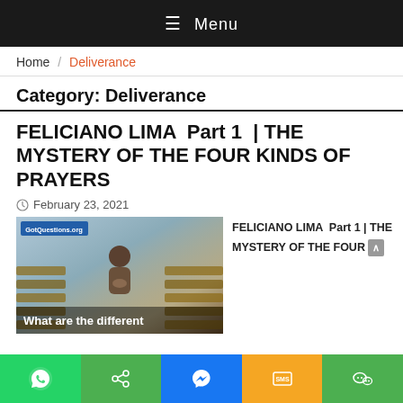☰ Menu
Home / Deliverance
Category: Deliverance
FELICIANO LIMA  Part 1  | THE MYSTERY OF THE FOUR KINDS OF PRAYERS
February 23, 2021
[Figure (photo): Photo of a person praying in church pews with text overlay 'What are the different' and GotQuestions.org badge]
FELICIANO LIMA  Part 1 | THE MYSTERY OF THE FOUR
WhatsApp | Share | Messenger | SMS | WeChat